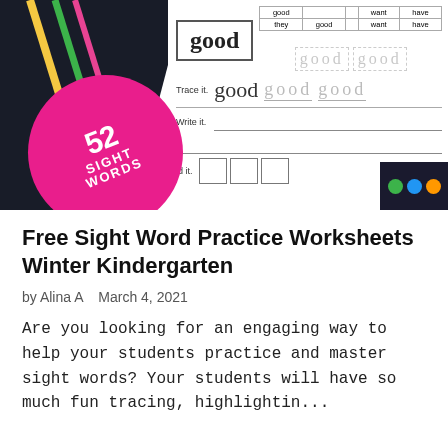[Figure (illustration): A sight word practice worksheet preview showing the word 'good' with a dark background with pencils on the left, a pink circle badge reading '52 SIGHT WORDS', a word box, a word-search grid, trace-it section with dotted letters, write-it lines, and build-it boxes. Colorful paint dots visible in bottom right corner.]
Free Sight Word Practice Worksheets Winter Kindergarten
by Alina A   March 4, 2021
Are you looking for an engaging way to help your students practice and master sight words? Your students will have so much fun tracing, highlightin...